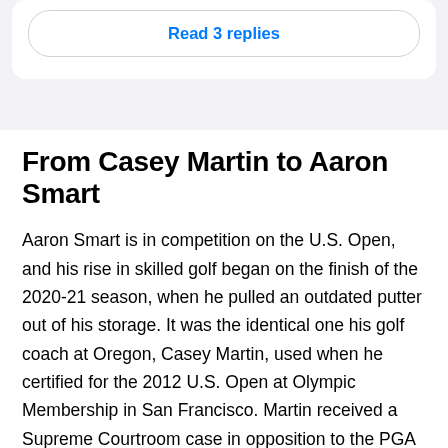Read 3 replies
From Casey Martin to Aaron Smart
Aaron Smart is in competition on the U.S. Open, and his rise in skilled golf began on the finish of the 2020-21 season, when he pulled an outdated putter out of his storage. It was the identical one his golf coach at Oregon, Casey Martin, used when he certified for the 2012 U.S. Open at Olympic Membership in San Francisco. Martin received a Supreme Courtroom case in opposition to the PGA Tour for the usage of a cart due to a beginning defect that made it tough for him to stroll. Martin had a part of his proper leg amputated in October. Martin gave the putter to Smart whereas Smart was enjoying for the